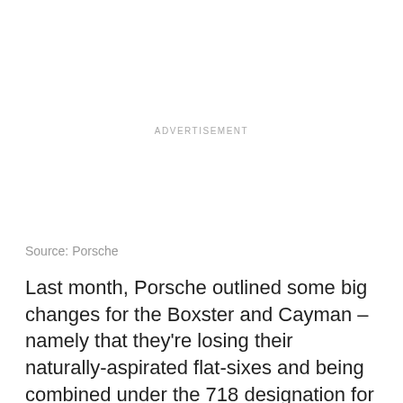ADVERTISEMENT
Source: Porsche
Last month, Porsche outlined some big changes for the Boxster and Cayman – namely that they're losing their naturally-aspirated flat-sixes and being combined under the 718 designation for 2017. But this shouldn't be a